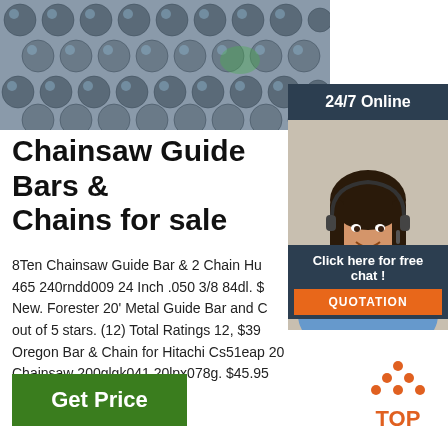[Figure (photo): Stack of steel/metal rods or bars seen from the end, silver/grey colored]
24/7 Online
[Figure (photo): Customer service woman with headset smiling]
Click here for free chat !
QUOTATION
Chainsaw Guide Bars & Chains for sale
8Ten Chainsaw Guide Bar & 2 Chain Hu 465 240rndd009 24 Inch .050 3/8 84dl. $ New. Forester 20' Metal Guide Bar and C out of 5 stars. (12) Total Ratings 12, $39 Oregon Bar & Chain for Hitachi Cs51eap 20 Chainsaw 200glgk041 20lpx078g. $45.95 New.
Get Price
[Figure (logo): TOP arrow logo with orange dots forming an upward arrow and the word TOP in orange]